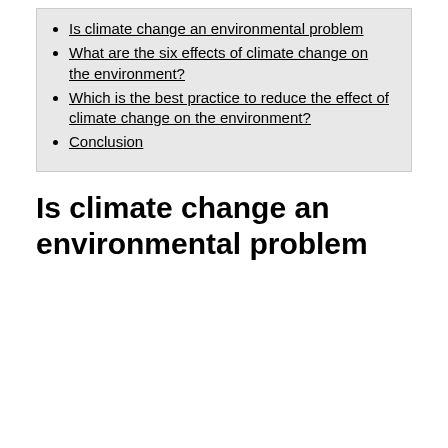Is climate change an environmental problem
What are the six effects of climate change on the environment?
Which is the best practice to reduce the effect of climate change on the environment?
Conclusion
Is climate change an environmental problem